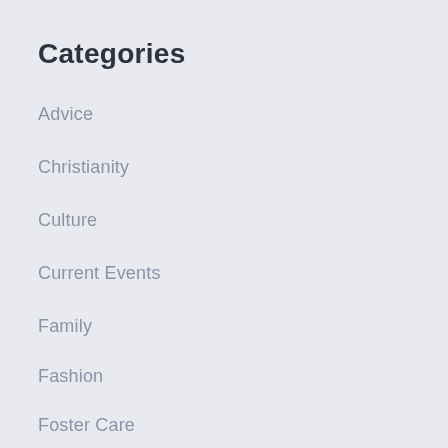Categories
Advice
Christianity
Culture
Current Events
Family
Fashion
Foster Care
General